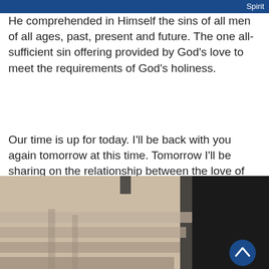the eternal Spirit And through that eternal Spirit He comprehended in Himself the sins of all men of all ages, past, present and future. The one all-sufficient sin offering provided by God’s love to meet the requirements of God’s holiness.
Our time is up for today. I’ll be back with you again tomorrow at this time. Tomorrow I’ll be sharing on the relationship between the love of God and the holiness of God.
[Figure (photo): A blurred image of stairs seen from above, with a dark background on the right side. A circular blue scroll-to-top button is visible in the lower right.]